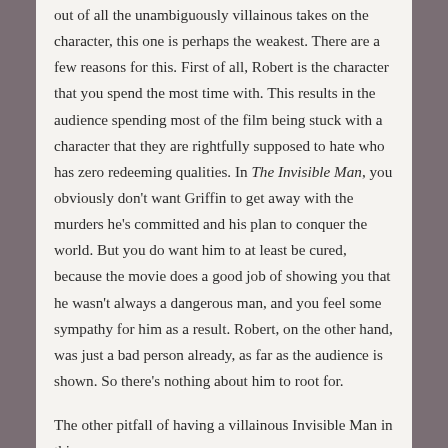out of all the unambiguously villainous takes on the character, this one is perhaps the weakest. There are a few reasons for this. First of all, Robert is the character that you spend the most time with. This results in the audience spending most of the film being stuck with a character that they are rightfully supposed to hate who has zero redeeming qualities. In The Invisible Man, you obviously don't want Griffin to get away with the murders he's committed and his plan to conquer the world. But you do want him to at least be cured, because the movie does a good job of showing you that he wasn't always a dangerous man, and you feel some sympathy for him as a result. Robert, on the other hand, was just a bad person already, as far as the audience is shown. So there's nothing about him to root for.
The other pitfall of having a villainous Invisible Man in this